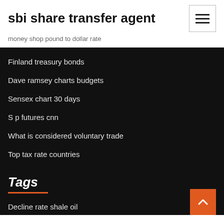sbi share transfer agent
money shop pound to dollar rate
Finland treasury bonds
Dave ramsey charts budgets
Sensex chart 30 days
S p futures cnn
What is considered voluntary trade
Top tax rate countries
Tags
Decline rate shale oil